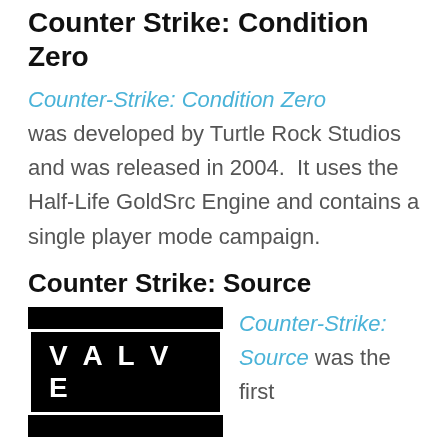Counter Strike: Condition Zero
Counter-Strike: Condition Zero was developed by Turtle Rock Studios and was released in 2004.  It uses the Half-Life GoldSrc Engine and contains a single player mode campaign.
Counter Strike: Source
[Figure (logo): Valve logo — white VALVE text in a white rectangle on a black background]
Counter-Strike: Source was the first